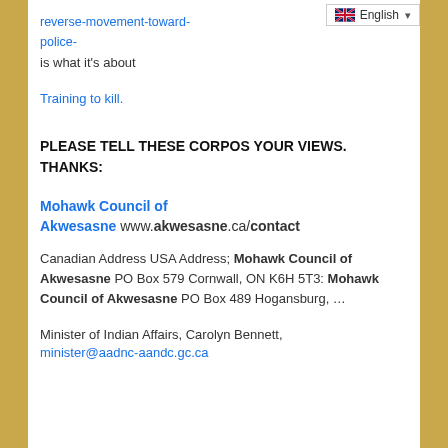reverse-movement-toward-police-
is what it's about
Training to kill.
PLEASE TELL THESE CORPOS YOUR VIEWS. THANKS:
Mohawk Council of Akwesasne www.akwesasne.ca/contact
Canadian Address USA Address; Mohawk Council of Akwesasne PO Box 579 Cornwall, ON K6H 5T3: Mohawk Council of Akwesasne PO Box 489 Hogansburg, …
Minister of Indian Affairs, Carolyn Bennett, minister@aadnc-aandc.gc.ca